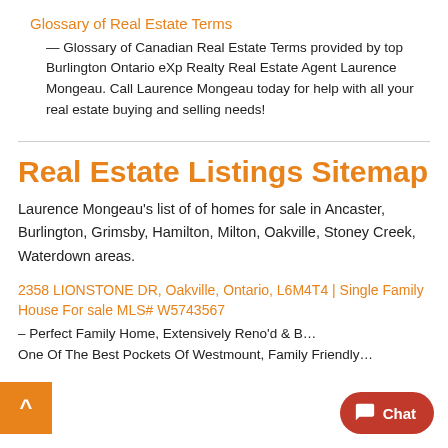Glossary of Real Estate Terms
— Glossary of Canadian Real Estate Terms provided by top Burlington Ontario eXp Realty Real Estate Agent Laurence Mongeau. Call Laurence Mongeau today for help with all your real estate buying and selling needs!
Real Estate Listings Sitemap
Laurence Mongeau's list of of homes for sale in Ancaster, Burlington, Grimsby, Hamilton, Milton, Oakville, Stoney Creek, Waterdown areas.
2358 LIONSTONE DR, Oakville, Ontario, L6M4T4 | Single Family House For sale MLS# W5743567
– Perfect Family Home, Extensively Reno'd & B…
One Of The Best Pockets Of Westmount, Family Friendly…